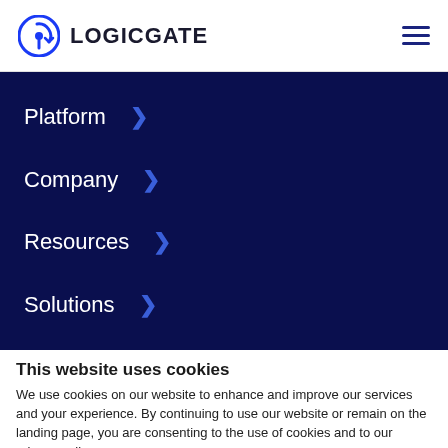[Figure (logo): LogicGate logo: blue circular icon with arrow/gate symbol and bold text LOGICGATE]
Platform >
Company >
Resources >
Solutions >
This website uses cookies
We use cookies on our website to enhance and improve our services and your experience. By continuing to use our website or remain on the landing page, you are consenting to the use of cookies and to our privacy policy.
Allow Cookies   Cookie Policy